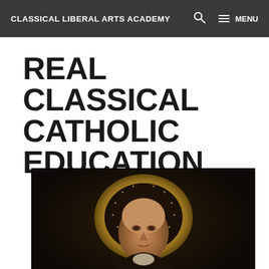CLASSICAL LIBERAL ARTS ACADEMY   🔍   ≡ MENU
REAL CLASSICAL CATHOLIC EDUCATION
[Figure (illustration): Renaissance-style painting portrait of a saint or scholar with a golden halo, wearing dark robes, looking slightly to the right. The figure appears to be St. Thomas Aquinas or similar Catholic saint, depicted in a classical painting style with dark background.]